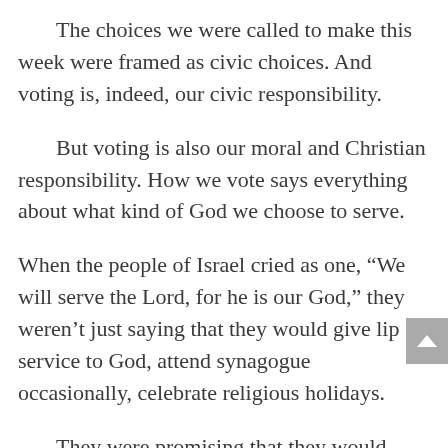The choices we were called to make this week were framed as civic choices. And voting is, indeed, our civic responsibility.
But voting is also our moral and Christian responsibility. How we vote says everything about what kind of God we choose to serve.
When the people of Israel cried as one, “We will serve the Lord, for he is our God,” they weren’t just saying that they would give lip service to God, attend synagogue occasionally, celebrate religious holidays.
They were promising that they would serve God by following God’s commandments, the